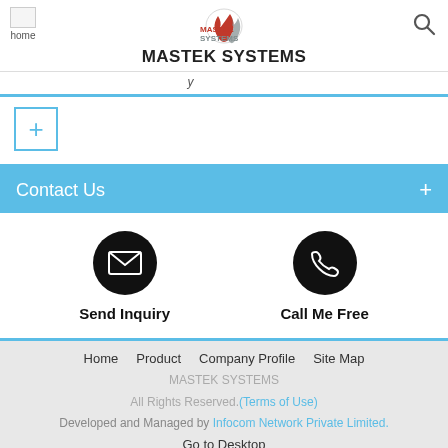MASTEK SYSTEMS
[Figure (logo): Mastek Systems logo with stylized flame/leaf icon in red and grey, text MASTEK SYSTEMS in red/grey]
[Figure (illustration): Plus (+) button in a blue-bordered box]
Contact Us
[Figure (illustration): Two round black icons: envelope (Send Inquiry) and phone (Call Me Free)]
Send Inquiry
Call Me Free
Home  Product  Company Profile  Site Map
MASTEK SYSTEMS
All Rights Reserved.(Terms of Use)
Developed and Managed by Infocom Network Private Limited.
Go to Desktop
tradeindia.com